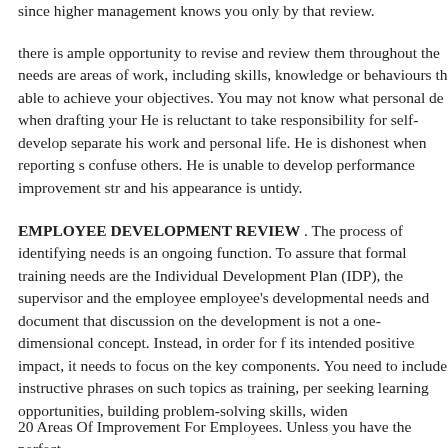since higher management knows you only by that review.
there is ample opportunity to revise and review them throughout the needs are areas of work, including skills, knowledge or behaviours able to achieve your objectives. You may not know what personal de when drafting your He is reluctant to take responsibility for self-deve separate his work and personal life. He is dishonest when reporting s confuse others. He is unable to develop performance improvement st and his appearance is untidy.
EMPLOYEE DEVELOPMENT REVIEW . The process of identifyin needs is an ongoing function. To assure that formal training needs are the Individual Development Plan (IDP), the supervisor and the empl employee's developmental needs and document that discussion on th development is not a one-dimensional concept. Instead, in order for its intended positive impact, it needs to focus on the key components You need to include instructive phrases on such topics as training, pe seeking learning opportunities, building problem-solving skills, wide
20 Areas Of Improvement For Employees. Unless you have the perfe